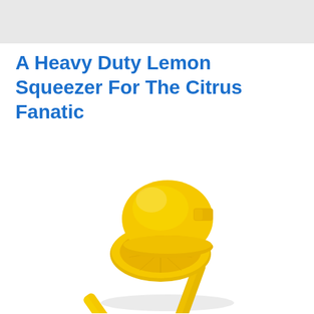A Heavy Duty Lemon Squeezer For The Citrus Fanatic
[Figure (photo): A yellow heavy-duty lemon squeezer / citrus press photographed against a white background, showing the two-handle lever mechanism with a bowl-shaped squeezing cup, viewed from above at an angle.]